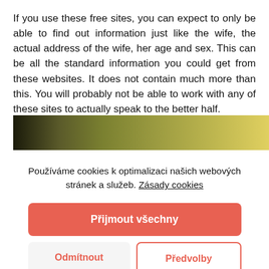If you use these free sites, you can expect to only be able to find out information just like the wife, the actual address of the wife, her age and sex. This can be all the standard information you could get from these websites. It does not contain much more than this. You will probably not be able to work with any of these sites to actually speak to the better half.
[Figure (photo): Partial outdoor photo showing dark and yellow-green tones, partially obscured by cookie consent dialog.]
Používáme cookies k optimalizaci našich webových stránek a služeb. Zásady cookies